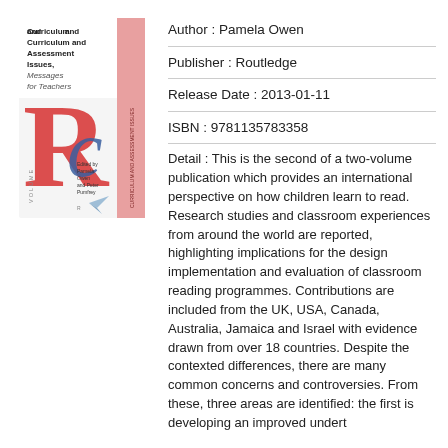[Figure (illustration): Book cover of 'Curriculum and Assessment Issues, Messages for Teachers' Volume, edited by Pamela Owen and Peter Pumfrey, showing a large red letter R with a blue c overlay, published by Routledge.]
Author : Pamela Owen
Publisher : Routledge
Release Date : 2013-01-11
ISBN : 9781135783358
Detail : This is the second of a two-volume publication which provides an international perspective on how children learn to read. Research studies and classroom experiences from around the world are reported, highlighting implications for the design implementation and evaluation of classroom reading programmes. Contributions are included from the UK, USA, Canada, Australia, Jamaica and Israel with evidence drawn from over 18 countries. Despite the contexted differences, there are many common concerns and controversies. From these, three areas are identified: the first is developing an improved underst...